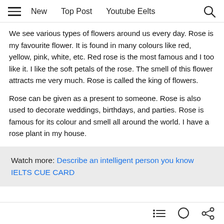New   Top Post   Youtube Eelts
We see various types of flowers around us every day. Rose is my favourite flower. It is found in many colours like red, yellow, pink, white, etc. Red rose is the most famous and I too like it. I like the soft petals of the rose. The smell of this flower attracts me very much. Rose is called the king of flowers.
Rose can be given as a present to someone. Rose is also used to decorate weddings, birthdays, and parties. Rose is famous for its colour and smell all around the world. I have a rose plant in my house.
Watch more: Describe an intelligent person you know IELTS CUE CARD